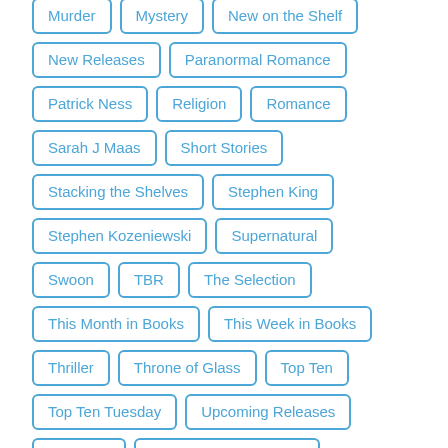Murder
Mystery
New on the Shelf
New Releases
Paranormal Romance
Patrick Ness
Religion
Romance
Sarah J Maas
Short Stories
Stacking the Shelves
Stephen King
Stephen Kozeniewski
Supernatural
Swoon
TBR
The Selection
This Month in Books
This Week in Books
Thriller
Throne of Glass
Top Ten
Top Ten Tuesday
Upcoming Releases
Vampires
Waiting on Wednesday